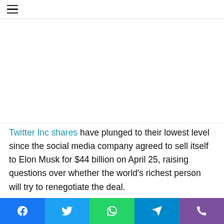≡
[Figure (other): White/blank advertisement or image placeholder area]
Twitter Inc shares have plunged to their lowest level since the social media company agreed to sell itself to Elon Musk for $44 billion on April 25, raising questions over whether the world's richest person will try to renegotiate the deal.
Social sharing bar with Facebook, Twitter, WhatsApp, Telegram, Viber icons